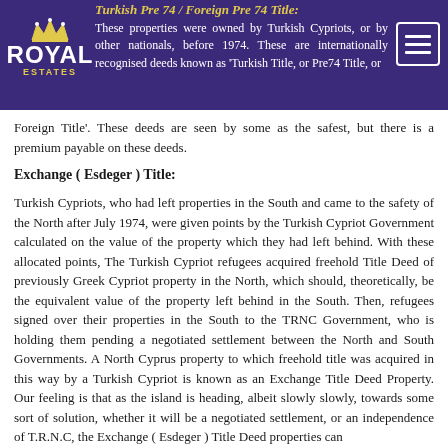Turkish Pre 74 / Foreign Pre 74 Title:
These properties were owned by Turkish Cypriots, or by other nationals, before 1974. These are internationally recognised deeds known as 'Turkish Title, or Pre74 Title, or Foreign Title'. These deeds are seen by some as the safest, but there is a premium payable on these deeds.
Exchange ( Esdeger ) Title:
Turkish Cypriots, who had left properties in the South and came to the safety of the North after July 1974, were given points by the Turkish Cypriot Government calculated on the value of the property which they had left behind. With these allocated points, The Turkish Cypriot refugees acquired freehold Title Deed of previously Greek Cypriot property in the North, which should, theoretically, be the equivalent value of the property left behind in the South. Then, refugees signed over their properties in the South to the TRNC Government, who is holding them pending a negotiated settlement between the North and South Governments. A North Cyprus property to which freehold title was acquired in this way by a Turkish Cypriot is known as an Exchange Title Deed Property. Our feeling is that as the island is heading, albeit slowly slowly, towards some sort of solution, whether it will be a negotiated settlement, or an independence of T.R.N.C, the Exchange ( Esdeger ) Title Deed properties can